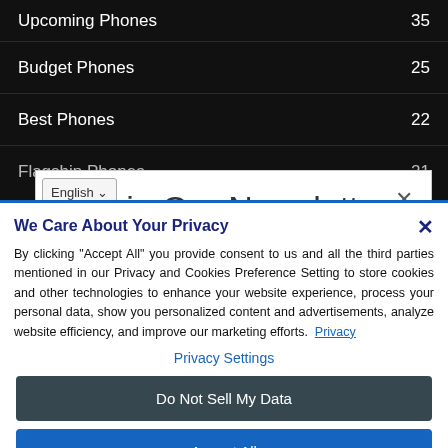Upcoming Phones  35
Budget Phones  25
Best Phones  22
Flagship Phones  21
Join Our Newsletter
Stay In The Loop!
We Care About Your Privacy
By clicking "Accept All" you provide consent to us and all the third parties mentioned in our Privacy and Cookies Preference Setting to store cookies and other technologies to enhance your website experience, process your personal data, show you personalized content and advertisements, analyze website efficiency, and improve our marketing efforts. Privacy
Privacy Settings
Do Not Sell My Data
Accept All